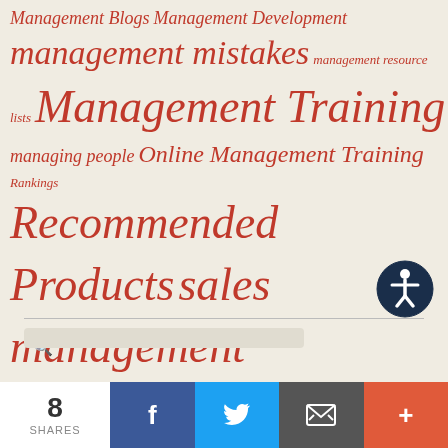Management Blogs Management Development management mistakes management resource lists Management Training managing people Online Management Training Rankings Recommended Products sales management sales training shit sandwich book social selling time management typical manager website conversions
[Figure (other): Accessibility icon - circular dark blue badge with a white person/wheelchair symbol]
[Figure (other): Search input box with magnifying glass icon]
[Figure (other): RSS orange feed icon]
RSS
8 SHARES
[Figure (infographic): Social share bar with Facebook, Twitter, Email, and More buttons]